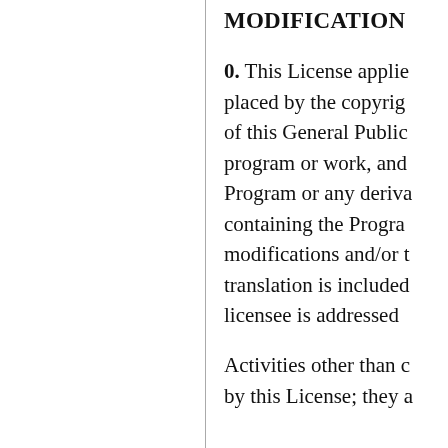MODIFICATION
0. This License applies placed by the copyright of this General Public program or work, and Program or any deriva containing the Program modifications and/or t translation is included licensee is addressed
Activities other than c by this License; they a